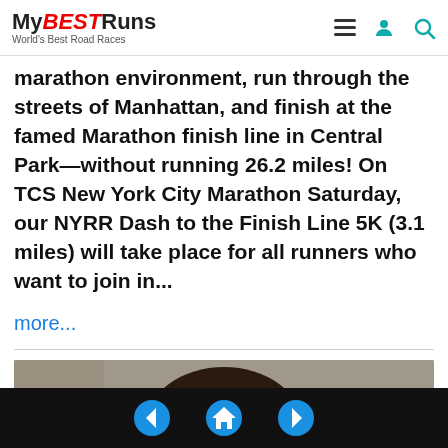MyBESTRuns — World's Best Road Races
marathon environment, run through the streets of Manhattan, and finish at the famed Marathon finish line in Central Park—without running 26.2 miles! On TCS New York City Marathon Saturday, our NYRR Dash to the Finish Line 5K (3.1 miles) will take place for all runners who want to join in...
more...
[Figure (photo): Close-up portrait of a smiling young woman with dark hair, against a neutral background.]
Navigation: back, home, forward